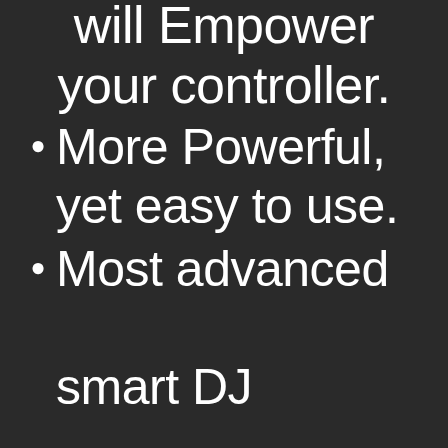will Empower your controller.
More Powerful, yet easy to use.
Most advanced smart DJ technology.
Provide